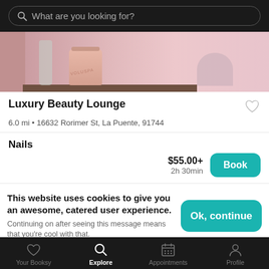What are you looking for?
[Figure (photo): Interior photo of a beauty salon/lounge showing a pink wall, a decorative candle, and a glass vase on a dark wooden shelf]
Luxury Beauty Lounge
6.0 mi • 16632 Rorimer St, La Puente, 91744
Nails
$55.00+
2h 30min
This website uses cookies to give you an awesome, catered user experience. Continuing on after seeing this message means that you're cool with that.
Your Booksy  Explore  Appointments  Profile